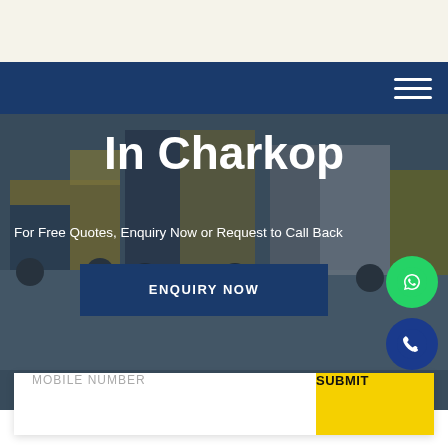[Figure (screenshot): Website screenshot of a truck/transport service page. Top beige bar, dark blue navigation bar with hamburger menu, hero section with muted trucks background image and dark overlay.]
In Charkop
For Free Quotes, Enquiry Now or Request to Call Back
ENQUIRY NOW
MOBILE NUMBER
SUBMIT